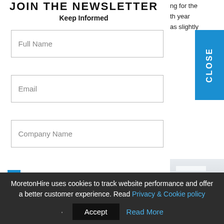JOIN THE NEWSLETTER
Keep Informed
Full Name
Email
Company Name
I'm interested in Exhibitions
I'm interested in Events
I give my consent to be emailed
I give my consent for my email activity to be tracked
ng for the th year as slightly
CLOSE
[Figure (photo): Interior room photo with ceiling lights and dark equipment]
MoretonHire uses cookies to track website performance and offer a better customer experience. Read Privacy & Cookie policy
Accept
Read More